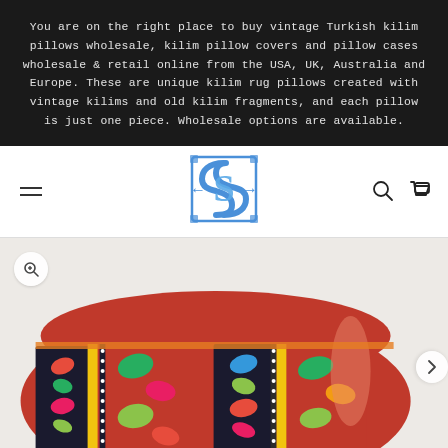You are on the right place to buy vintage Turkish kilim pillows wholesale, kilim pillow covers and pillow cases wholesale & retail online from the USA, UK, Australia and Europe. These are unique kilim rug pillows created with vintage kilims and old kilim fragments, and each pillow is just one piece. Wholesale options are available.
[Figure (logo): Blue stylized letter S logo with ornate border for Turkish kilim store]
[Figure (photo): Colorful vintage Turkish kilim pillow with red, blue, green, yellow, pink geometric patterns and bird/dragon motifs on a cream background]